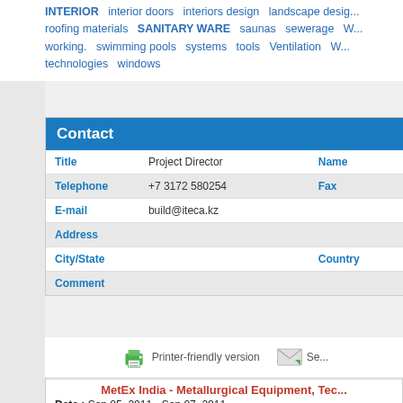INTERIOR interior doors interiors design landscape design roofing materials SANITARY WARE saunas sewerage working. swimming pools systems tools Ventilation W... technologies windows
| Title | Project Director | Name |  |
| --- | --- | --- | --- |
| Telephone | +7 3172 580254 | Fax |  |
| E-mail | build@iteca.kz |  |  |
| Address |  |  |  |
| City/State |  | Country |  |
| Comment |  |  |  |
[Figure (other): Printer-friendly version icon with green printer and text, and mail/send icon]
MetEx India - Metallurgical Equipment, Tec...
Date : Sep 05, 2011 - Sep 07, 2011